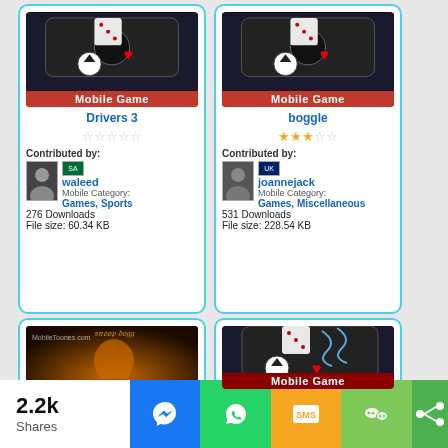[Figure (screenshot): Mobile game app card for Drivers 3 with game image, 0 star rating, contributor waleed (Saudi Arabia flag), Mobile Category Games Sports, 276 Downloads, File size 60.34 KB]
[Figure (screenshot): Mobile game app card for boggle with game image, 3 star rating, contributor joannejack (UK flag), Mobile Category Games Miscellaneous, 531 Downloads, File size 228.54 KB]
[Figure (screenshot): Mobile game app card for snoop dogg cruisin with Snoop Dogg Cruisin album art, 2 star rating, partially visible]
[Figure (screenshot): Mobile game app card for Pitfall jungle with mobile game image, empty star rating, partially visible]
2.2k Shares